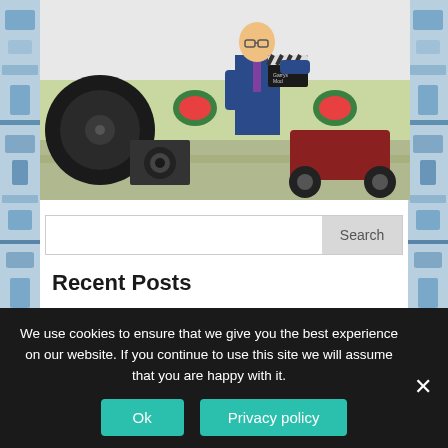[Figure (illustration): Illustrated scene showing a man in a blue suit holding a film clapperboard, surrounded by movie equipment including cameras and a vintage car, with watermelons and a green backdrop in the background.]
Search
Recent Posts
The best part about Garry's Mod
We use cookies to ensure that we give you the best experience on our website. If you continue to use this site we will assume that you are happy with it.
Ok
Privacy policy